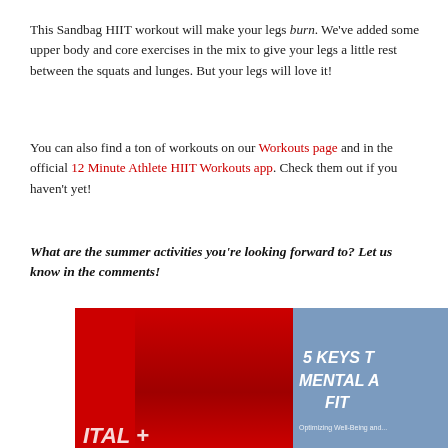This Sandbag HIIT workout will make your legs burn. We've added some upper body and core exercises in the mix to give your legs a little rest between the squats and lunges. But your legs will love it!
You can also find a ton of workouts on our Workouts page and in the official 12 Minute Athlete HIIT Workouts app. Check them out if you haven't yet!
What are the summer activities you're looking forward to? Let us know in the comments!
[Figure (photo): Partially visible book cover or promotional image with a red background on the left and a blue/grey book on the right. The book shows text '5 KEYS T', 'MENTAL A', 'FIT' and 'Optimizing Well-Being and...' at the bottom. Bottom left shows partial text 'ITAL +' on the red background.]